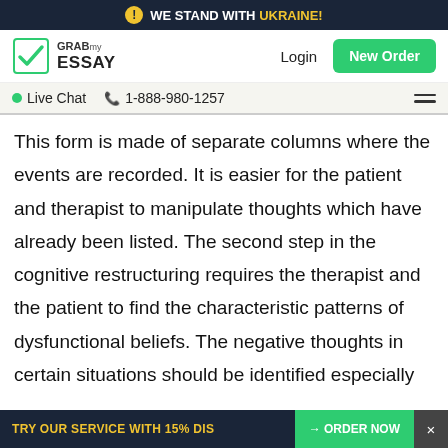⚠ WE STAND WITH UKRAINE!
[Figure (logo): GrabMyEssay logo with checkmark icon, Login link, and New Order green button]
● Live Chat  📞 1-888-980-1257
This form is made of separate columns where the events are recorded. It is easier for the patient and therapist to manipulate thoughts which have already been listed. The second step in the cognitive restructuring requires the therapist and the patient to find the characteristic patterns of dysfunctional beliefs. The negative thoughts in certain situations should be identified especially cases of anger as a response to stress. Such thoughts should then be listed down in the disputing column of the thought record.  The final step requires the patient to restate the original positive
TRY OUR SERVICE WITH 15% DIS → ORDER NOW  ×